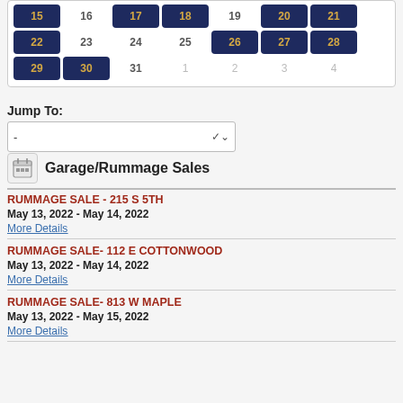[Figure (other): Calendar grid showing dates 15-31 and 1-4, with highlighted dates in dark navy blue with gold numbers: 15, 17, 18, 20, 21, 22, 26, 27, 28, 29, 30]
Jump To:
[Figure (other): Dropdown select box with a dash '-' and a chevron arrow]
Garage/Rummage Sales
RUMMAGE SALE - 215 S 5TH
May 13, 2022 - May 14, 2022
More Details
RUMMAGE SALE- 112 E COTTONWOOD
May 13, 2022 - May 14, 2022
More Details
RUMMAGE SALE- 813 W MAPLE
May 13, 2022 - May 15, 2022
More Details